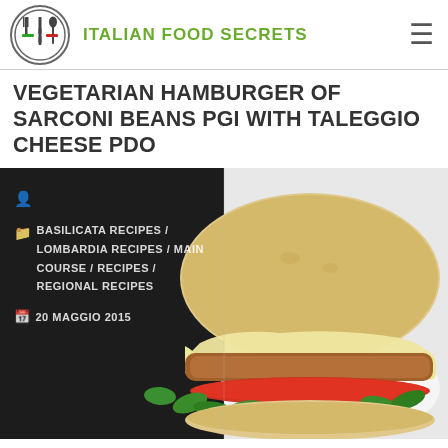ITALIAN FOOD SECRETS
VEGETARIAN HAMBURGER OF SARCONI BEANS PGI WITH TALEGGIO CHEESE PDO
[Figure (photo): A vegetarian hamburger made with Sarconi beans PGI, with melted Taleggio cheese PDO, tomato, and arugula, served on a white plate. Dark background on the left half, white background on the right half. Overlay text shows categories and date.]